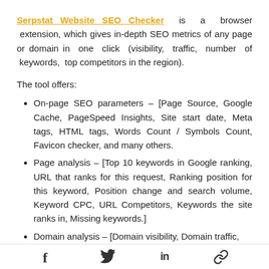Serpstat Website SEO Checker is a browser extension, which gives in-depth SEO metrics of any page or domain in one click (visibility, traffic, number of keywords, top competitors in the region).
The tool offers:
On-page SEO parameters – [Page Source, Google Cache, PageSpeed Insights, Site start date, Meta tags, HTML tags, Words Count / Symbols Count, Favicon checker, and many others.
Page analysis – [Top 10 keywords in Google ranking, URL that ranks for this request, Ranking position for this keyword, Position change and search volume, Keyword CPC, URL Competitors, Keywords the site ranks in, Missing keywords.]
Domain analysis – [Domain visibility, Domain traffic,
f  [twitter]  in  [link]